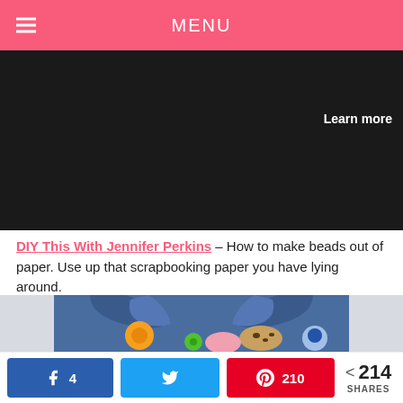MENU
[Figure (other): Dark advertisement block with 'Learn more' text in upper right]
DIY This With Jennifer Perkins – How to make beads out of paper. Use up that scrapbooking paper you have lying around.
[Figure (photo): Photo of a denim jacket collar/vest with decorative pins including an orange flower, leopard print oval, rainbow character, and colorful buttons on a light gray background]
4  |  Twitter share  |  210  |  < 214 SHARES